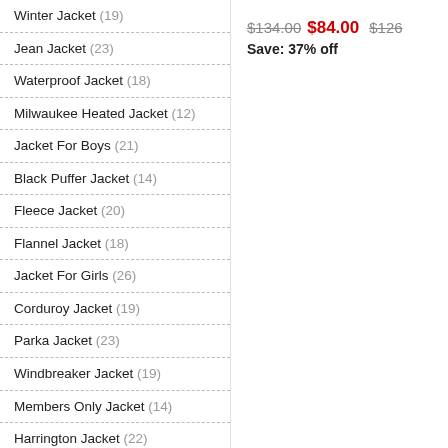Winter Jacket (19)
Jean Jacket (23)
Waterproof Jacket (18)
Milwaukee Heated Jacket (12)
Jacket For Boys (21)
Black Puffer Jacket (14)
Fleece Jacket (20)
Flannel Jacket (18)
Jacket For Girls (26)
Corduroy Jacket (19)
Parka Jacket (23)
Windbreaker Jacket (19)
Members Only Jacket (14)
Harrington Jacket (22)
Black Leather Jacket (17)
Down Jacket (28)
$134.00  $84.00  Save: 37% off  $126